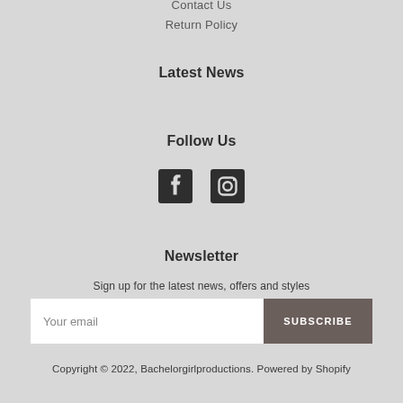Contact Us
Return Policy
Latest News
Follow Us
[Figure (illustration): Facebook and Instagram social media icons]
Newsletter
Sign up for the latest news, offers and styles
Your email / SUBSCRIBE button
Copyright © 2022, Bachelorgirlproductions. Powered by Shopify